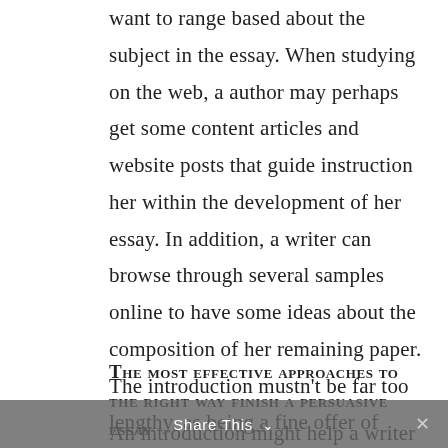want to range based about the subject in the essay. When studying on the web, a author may perhaps get some content articles and website posts that guide instruction her within the development of her essay. In addition, a writer can browse through several samples online to have some ideas about the composition of her remaining paper. The introduction mustn't be far too lengthy, as being a fine offer of information is by now introduced within just it.
The most effective approaches to the right way finish a persuasive essay
An introduction might help a writer grasp